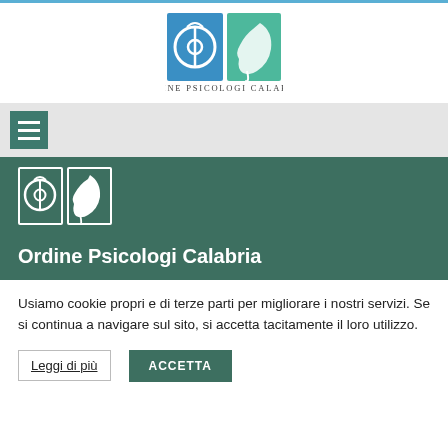[Figure (logo): Ordine Psicologi Calabria logo - two square panels: left panel blue with circular symbol, right panel teal/green with profile face silhouette]
Ordine Psicologi Calabria
[Figure (other): Hamburger menu icon button (three horizontal lines) on grey navigation bar]
[Figure (logo): Ordine Psicologi Calabria white logo on green hero banner background]
Ordine Psicologi Calabria
Usiamo cookie propri e di terze parti per migliorare i nostri servizi. Se si continua a navigare sul sito, si accetta tacitamente il loro utilizzo.
Leggi di più   ACCETTA